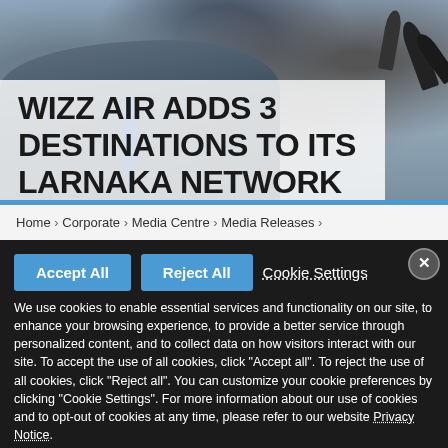[Figure (photo): Press conference background with a person in suit and tie, surrounded by microphones]
WIZZ AIR ADDS 3 DESTINATIONS TO ITS LARNAKA NETWORK
Home › Corporate › Media Centre › Media Releases ›
Accept All   Reject All   Cookie Settings
We use cookies to enable essential services and functionality on our site, to enhance your browsing experience, to provide a better service through personalized content, and to collect data on how visitors interact with our site. To accept the use of all cookies, click "Accept all". To reject the use of all cookies, click "Reject all". You can customize your cookie preferences by clicking "Cookie Settings". For more information about our use of cookies and to opt-out of cookies at any time, please refer to our website Privacy Notice.